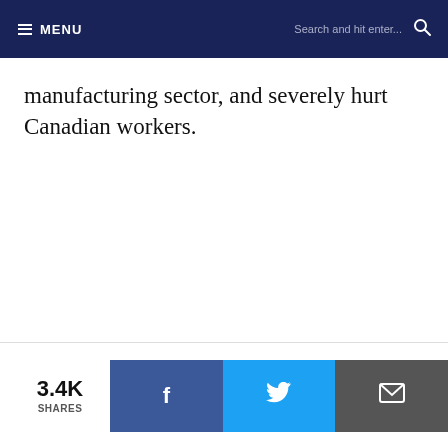MENU | Search and hit enter...
manufacturing sector, and severely hurt Canadian workers.
3.4K SHARES | Facebook | Twitter | Email